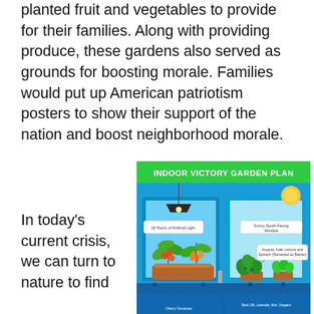planted fruit and vegetables to provide for their families. Along with providing produce, these gardens also served as grounds for boosting morale. Families would put up American patriotism posters to show their support of the nation and boost neighborhood morale.
[Figure (infographic): Indoor Victory Garden Plan infographic showing a room with artificial lighting on left side (16 Hours of Artificial Light label) and sunny south-facing window on right (Sunny South-Facing Window label). Left side shows tomato and pepper plants under grow light in terracotta planter. Right side shows Arugula, Kale, Lettuce and Spinach (Harvested as Babies) with herb pots. Bottom labels include Cherry Tomatoes and Basil, Dill, Lavender, Mint, Oregano.]
In today's current crisis, we can turn to nature to find